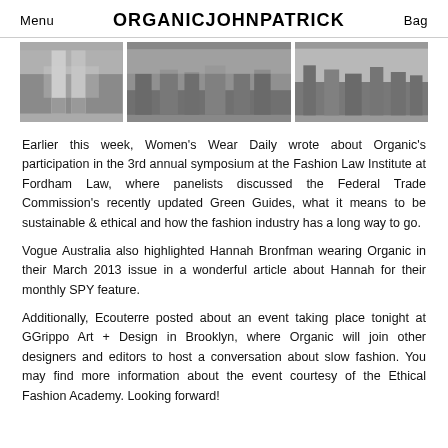Menu  ORGANICJOHNPATRICK  Bag
[Figure (photo): Three black and white photographs side by side showing people at what appears to be a fashion or symposium event.]
Earlier this week, Women's Wear Daily wrote about Organic's participation in the 3rd annual symposium at the Fashion Law Institute at Fordham Law, where panelists discussed the Federal Trade Commission's recently updated Green Guides, what it means to be sustainable & ethical and how the fashion industry has a long way to go.
Vogue Australia also highlighted Hannah Bronfman wearing Organic in their March 2013 issue in a wonderful article about Hannah for their monthly SPY feature.
Additionally, Ecouterre posted about an event taking place tonight at GGrippo Art + Design in Brooklyn, where Organic will join other designers and editors to host a conversation about slow fashion. You may find more information about the event courtesy of the Ethical Fashion Academy. Looking forward!